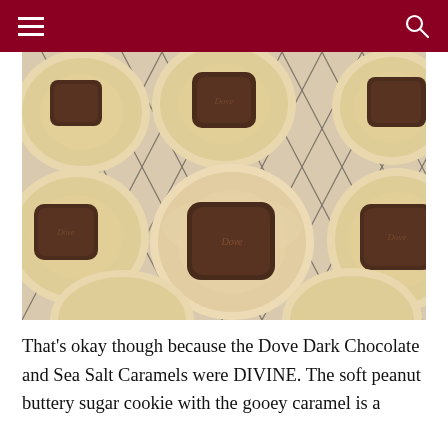Navigation header with hamburger menu and search icon
[Figure (photo): Overhead close-up photo of peanut butter blossom cookies topped with Dove dark chocolate caramel squares, arranged on a wire cooling rack with parchment paper underneath.]
That's okay though because the Dove Dark Chocolate and Sea Salt Caramels were DIVINE. The soft peanut buttery sugar cookie with the gooey caramel is a